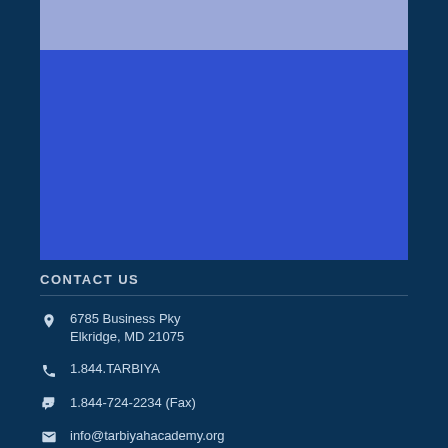[Figure (illustration): Light blue rectangle at the top of a blue block, representing a decorative header image area]
CONTACT US
6785 Business Pky
Elkridge, MD 21075
1.844.TARBIYA
1.844-724-2234 (Fax)
info@tarbiyahacademy.org